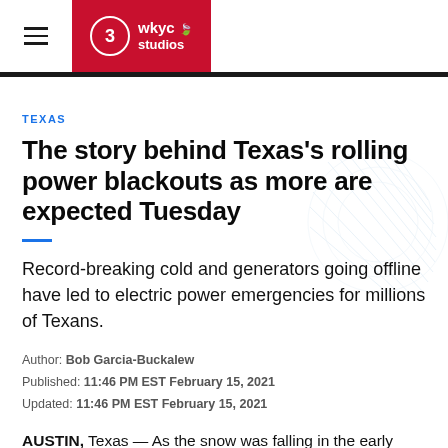WKYC Studios
TEXAS
The story behind Texas's rolling power blackouts as more are expected Tuesday
Record-breaking cold and generators going offline have led to electric power emergencies for millions of Texans.
Author: Bob Garcia-Buckalew
Published: 11:46 PM EST February 15, 2021
Updated: 11:46 PM EST February 15, 2021
AUSTIN, Texas — As the snow was falling in the early